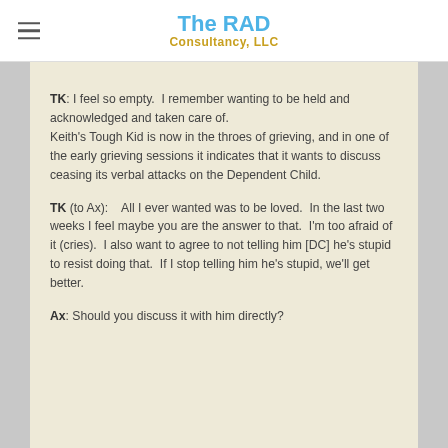The RAD Consultancy, LLC
TK: I feel so empty.  I remember wanting to be held and acknowledged and taken care of.
Keith's Tough Kid is now in the throes of grieving, and in one of the early grieving sessions it indicates that it wants to discuss ceasing its verbal attacks on the Dependent Child.
TK (to Ax):    All I ever wanted was to be loved.  In the last two weeks I feel maybe you are the answer to that.  I'm too afraid of it (cries).  I also want to agree to not telling him [DC] he's stupid to resist doing that.  If I stop telling him he's stupid, we'll get better.
Ax: Should you discuss it with him directly?